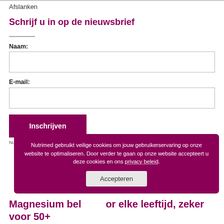Afslanken
Schrijf u in op de nieuwsbrief
Naam:
E-mail:
Inschrijven
Nutrimed gebruikt veilige cookies om jouw gebruikerservaring op onze website te optimaliseren. Door verder te gaan op onze website accepteert u deze cookies en ons privacy beleid.
Accepteren
Magnesium belangrijk voor elke leeftijd, zeker voor 50+